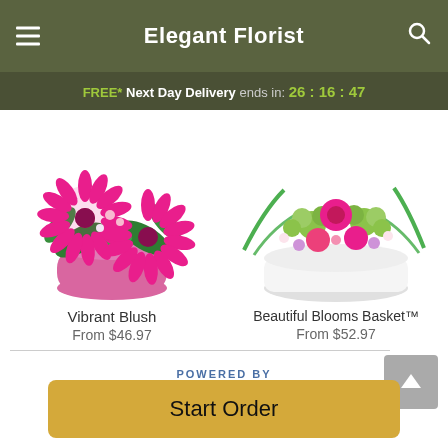Elegant Florist
FREE* Next Day Delivery ends in: 26:16:47
[Figure (photo): Pink gerbera daisy and mixed flower arrangement in a pink pot - Vibrant Blush]
Vibrant Blush
From $46.97
[Figure (photo): Mixed green and pink flower arrangement in a white basket - Beautiful Blooms Basket]
Beautiful Blooms Basket™
From $52.97
POWERED BY
Start Order